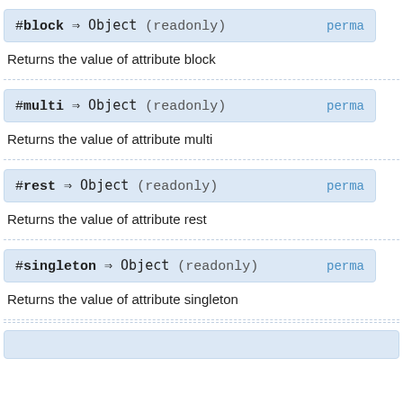#block ⇒ Object (readonly)
Returns the value of attribute block
#multi ⇒ Object (readonly)
Returns the value of attribute multi
#rest ⇒ Object (readonly)
Returns the value of attribute rest
#singleton ⇒ Object (readonly)
Returns the value of attribute singleton